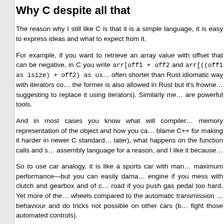Why C despite all that
The reason why I still like C is that it is a simple language, it is easy to express ideas and what to expect from it.
For example, if you want to retrieve an array value with offset that can be negative, in C you write arr[off1 + off2] and arr[((off1 as isize) + off2) as us... often shorter than Rust idiomatic way with iterators co... the former is also allowed in Rust but it's frowned... suggesting to replace it using iterators). Similarly me... are powerful tools.
And in most cases you know what will compiler... memory representation of the object and how you ca... blame C++ for making it harder in newer C standard... later), what happens on the function calls and s... assembly language for a reason, and I like it because...
So to use car analogy, it is like a sports car with man... maximum performance—but you can easily dama... engine if you mess with clutch and gearbox and of c... road if you push gas pedal too hard. Yet more of the... wheels compared to the automatic transmission... behaviour and do tricks not possible on other cars (b... fight those automated controls).